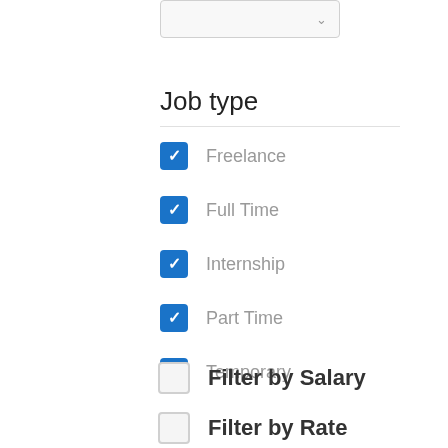[Figure (screenshot): Dropdown selector box with a downward chevron arrow, partially visible at top of page]
Job type
Freelance (checked)
Full Time (checked)
Internship (checked)
Part Time (checked)
Temporary (checked)
Filter by Salary (unchecked)
Filter by Rate (unchecked)